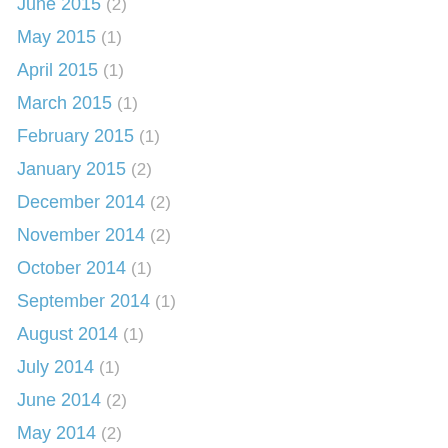June 2015 (2)
May 2015 (1)
April 2015 (1)
March 2015 (1)
February 2015 (1)
January 2015 (2)
December 2014 (2)
November 2014 (2)
October 2014 (1)
September 2014 (1)
August 2014 (1)
July 2014 (1)
June 2014 (2)
May 2014 (2)
April 2014 (1)
March 2014 (3)
February 2014 (2)
January 2014 (3)
December 2013 (2)
November 2013 (3)